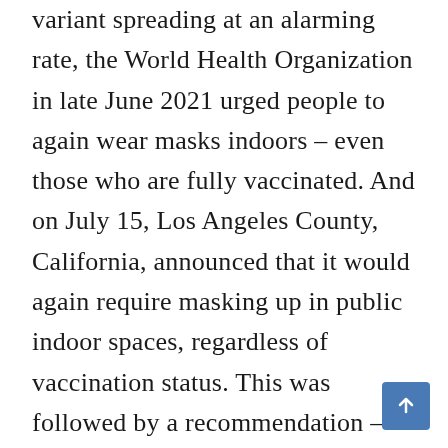variant spreading at an alarming rate, the World Health Organization in late June 2021 urged people to again wear masks indoors – even those who are fully vaccinated. And on July 15, Los Angeles County, California, announced that it would again require masking up in public indoor spaces, regardless of vaccination status. This was followed by a recommendation – though not a mandate – from seven Bay Area counties for all to again don masks in public indoor settings.

Notably, the U.S. Centers for Disease Control and Prevention has not yet taken a similar